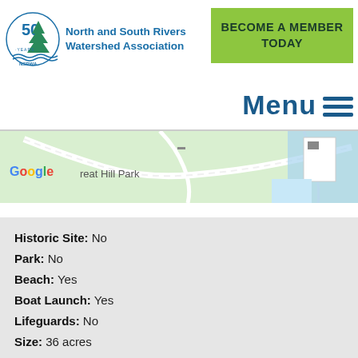[Figure (logo): North and South Rivers Watershed Association 50 Years NSRWA logo with tree/water imagery]
North and South Rivers Watershed Association
BECOME A MEMBER TODAY
Menu ≡
[Figure (map): Google Maps screenshot showing Great Hill Park area with roads and blue water bodies]
Historic Site: No
Park: No
Beach: Yes
Boat Launch: Yes
Lifeguards: No
Size: 36 acres
Hours: Dawn to Dusk